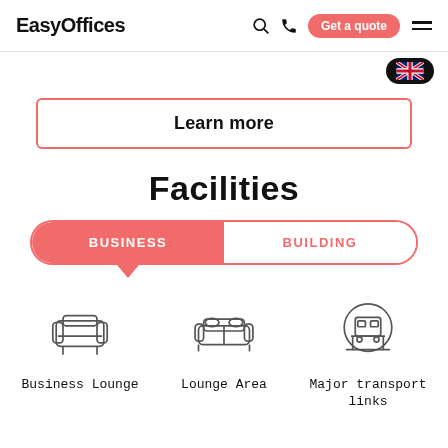EasyOffices — Get a quote
[Figure (illustration): UK flag pill button in top right corner]
Learn more
Facilities
BUSINESS | BUILDING (tab selector)
[Figure (illustration): Business Lounge armchair icon]
[Figure (illustration): Lounge Area sofa icon]
[Figure (illustration): Major transport links train icon]
Business Lounge
Lounge Area
Major transport links